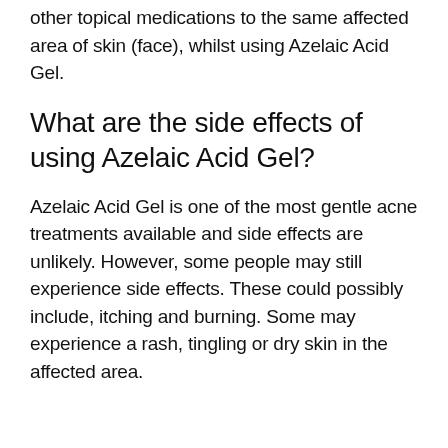other topical medications to the same affected area of skin (face), whilst using Azelaic Acid Gel.
What are the side effects of using Azelaic Acid Gel?
Azelaic Acid Gel is one of the most gentle acne treatments available and side effects are unlikely. However, some people may still experience side effects. These could possibly include, itching and burning. Some may experience a rash, tingling or dry skin in the affected area.